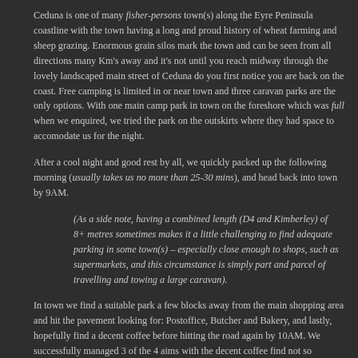Ceduna is one of many fisher-persons town(s) along the Eyre Peninsula coastline with the town having a long and proud history of wheat farming and sheep grazing. Enormous grain silos mark the town and can be seen from all directions many Km's away and it's not until you reach midway through the lovely landscaped main street of Ceduna do you first notice you are back on the coast. Free camping is limited in or near town and three caravan parks are the only options. With one main camp park in town on the foreshore which was full when we enquired, we tried the park on the outskirts where they had space to accomodate us for the night.
After a cool night and good rest by all, we quickly packed up the following morning (usually takes us no more than 25-30 mins), and head back into town by 9AM.
(As a side note, having a combined length (D4 and Kimberley) of 8+ metres sometimes makes it a little challenging to find adequate parking in some town(s) – especially close enough to shops, such as supermarkets, and this circumstance is simply part and parcel of travelling and towing a large caravan).
In town we find a suitable park a few blocks away from the main shopping area and hit the pavement looking for: Postoffice, Butcher and Bakery, and lastly, hopefully find a decent coffee before hitting the road again by 10AM. We successfully managed 3 of the 4 aims with the decent coffee find not so flattering. Ah well, can't have everything!